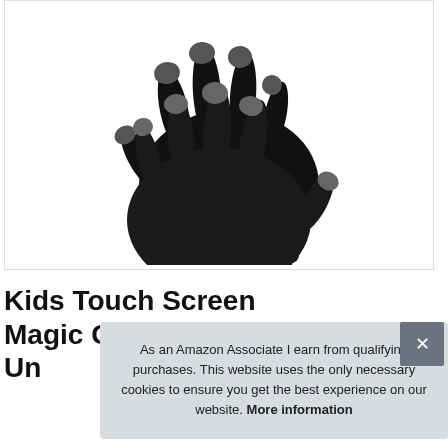[Figure (photo): Two black knitted touch-screen gloves with grey fingertips, viewed from the palm side, overlapping each other on a white background.]
Kids Touch Screen Magic Gloves For All Un…
As an Amazon Associate I earn from qualifying purchases. This website uses the only necessary cookies to ensure you get the best experience on our website. More information